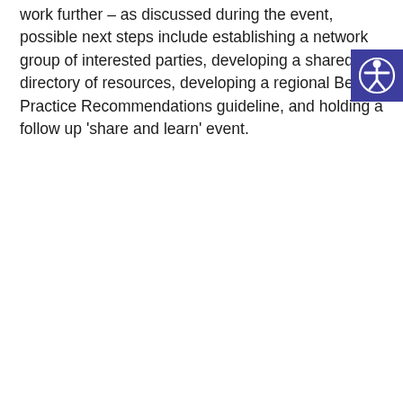work further – as discussed during the event, possible next steps include establishing a network group of interested parties, developing a shared directory of resources, developing a regional Best Practice Recommendations guideline, and holding a follow up 'share and learn' event.
[Figure (other): Accessibility widget icon — blue square with white human figure (universal accessibility symbol)]